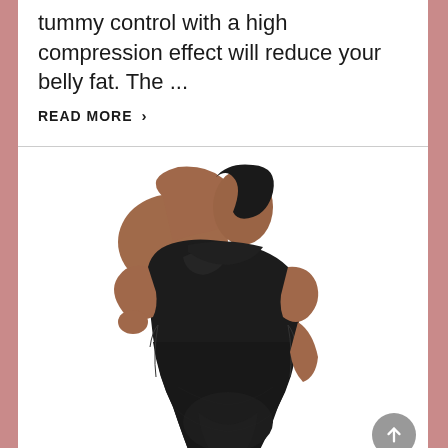tummy control with a high compression effect will reduce your belly fat. The ...
READ MORE ›
[Figure (photo): Woman wearing a black compression shapewear bodysuit, shown from a back-side angle with one arm raised, demonstrating the garment's fit and shape.]